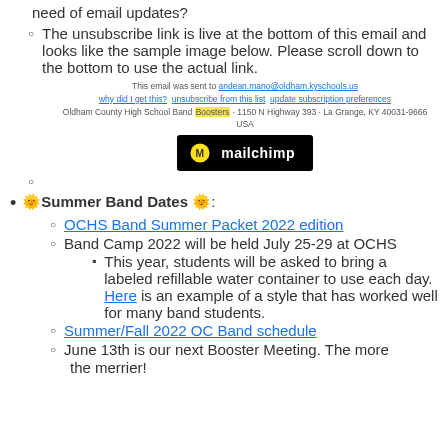need of email updates?
The unsubscribe link is live at the bottom of this email and looks like the sample image below. Please scroll down to the bottom to use the actual link.
[Figure (screenshot): Mailchimp email footer screenshot showing unsubscribe link and Mailchimp logo on black background]
🌞Summer Band Dates 🌞:
OCHS Band Summer Packet 2022 edition (link)
Band Camp 2022 will be held July 25-29 at OCHS
This year, students will be asked to bring a labeled refillable water container to use each day. Here is an example of a style that has worked well for many band students.
Summer/Fall 2022 OC Band schedule (link)
June 13th is our next Booster Meeting. The more the merrier!